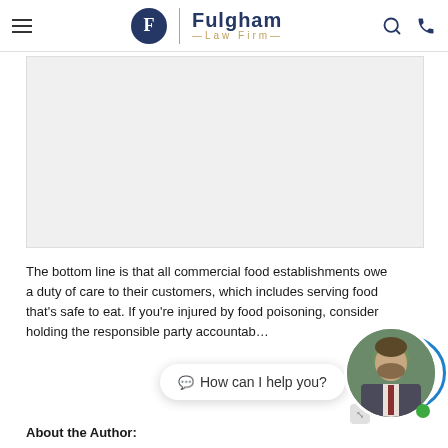Fulgham Law Firm
[Figure (photo): Light gray rectangular image placeholder area]
The bottom line is that all commercial food establishments owe a duty of care to their customers, which includes serving food that's safe to eat. If you're injured by food poisoning, consider holding the responsible party accountabl…
[Figure (photo): Chat bubble overlay reading 'How can I help you?' with attorney avatar circle and green online indicator dot]
About the Author: